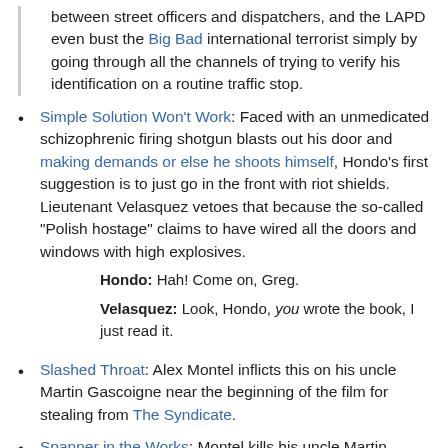between street officers and dispatchers, and the LAPD even bust the Big Bad international terrorist simply by going through all the channels of trying to verify his identification on a routine traffic stop.
Simple Solution Won't Work: Faced with an unmedicated schizophrenic firing shotgun blasts out his door and making demands or else he shoots himself, Hondo's first suggestion is to just go in the front with riot shields. Lieutenant Velasquez vetoes that because the so-called "Polish hostage" claims to have wired all the doors and windows with high explosives.
Hondo: Hah! Come on, Greg.
Velasquez: Look, Hondo, you wrote the book, I just read it.
Slashed Throat: Alex Montel inflicts this on his uncle Martin Gascoigne near the beginning of the film for stealing from The Syndicate.
Spanner in the Works: Montel kills his uncle Martin Gascoigne for sticking his hand in their organization's till,